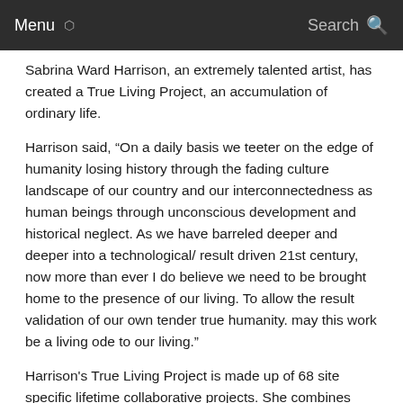Menu  Search
Sabrina Ward Harrison, an extremely talented artist, has created a True Living Project, an accumulation of ordinary life.
Harrison said, “On a daily basis we teeter on the edge of humanity losing history through the fading culture landscape of our country and our interconnectedness as human beings through unconscious development and historical neglect. As we have barreled deeper and deeper into a technological/ result driven 21st century, now more than ever I do believe we need to be brought home to the presence of our living. To allow the result validation of our own tender true humanity. may this work be a living ode to our living.”
Harrison's True Living Project is made up of 68 site specific lifetime collaborative projects. She combines ordinary pieces of lives and makes them into works of beautiful art. She has written four books consisting of her journals, and she has taught people around the world through workshops how to dig deep to find the creative soul.
The combination of photos, paintings, found items, words, videos